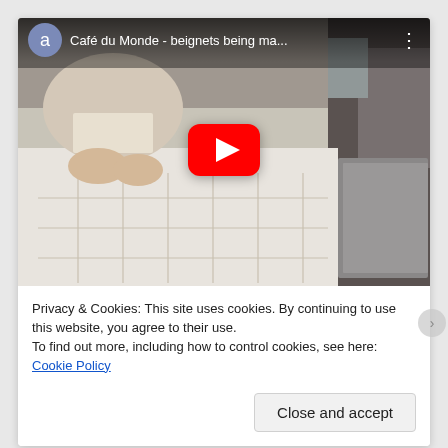[Figure (screenshot): A YouTube video thumbnail/embed showing a person making beignets at Café du Monde. The video title bar shows 'Café du Monde - beignets being ma...' with a Google account avatar letter 'a' and a three-dot menu. A red YouTube play button is centered over the video. The scene shows a person in a Café Du Monde apron cutting or shaping beignet dough on a floured surface with rows of cut dough squares visible.]
Privacy & Cookies: This site uses cookies. By continuing to use this website, you agree to their use.
To find out more, including how to control cookies, see here: Cookie Policy
Close and accept